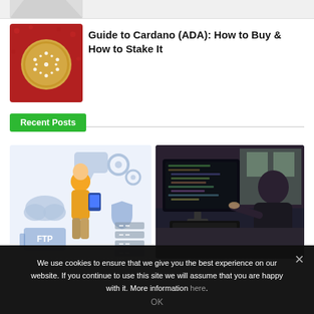[Figure (photo): Partial image strip at top of page, partially visible cropped image]
[Figure (photo): Cardano (ADA) gold coin on red fabric background]
Guide to Cardano (ADA): How to Buy & How to Stake It
Recent Posts
[Figure (illustration): Illustration of person holding phone surrounded by FTP, cloud, gear, and server icons]
[Figure (photo): Photo of person working on laptop with code on screen]
We use cookies to ensure that we give you the best experience on our website. If you continue to use this site we will assume that you are happy with it. More information here.